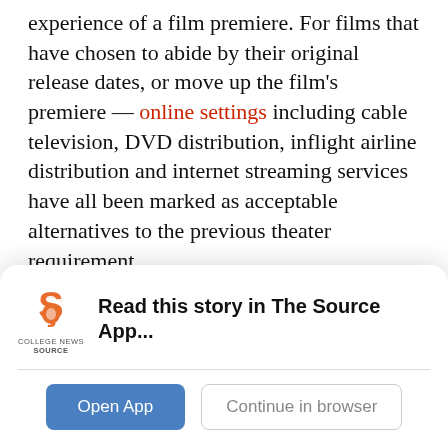experience of a film premiere. For films that have chosen to abide by their original release dates, or move up the film’s premiere — online settings including cable television, DVD distribution, inflight airline distribution and internet streaming services have all been marked as acceptable alternatives to the previous theater requirement.

While the physical theater requirement has been waived for the 93rd Oscars Ceremony in 2021, all other eligibility requirements for these films remain the same. “The Academy firmly believes that…
[Figure (other): App promotional banner with College News Source logo, text 'Read this story in The Source App...', and two buttons: 'Open App' and 'Continue in browser']